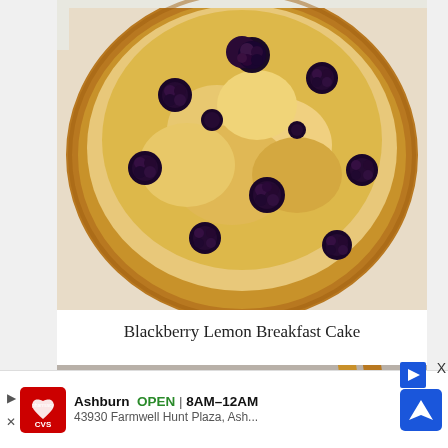[Figure (photo): Overhead close-up photo of a round Blackberry Lemon Breakfast Cake with golden-brown crust studded with fresh blackberries]
Blackberry Lemon Breakfast Cake
[Figure (photo): Close-up photo of pan-fried dumplings/potstickers on a white plate with wooden chopsticks in the background]
Ashburn  OPEN | 8AM–12AM  43930 Farmwell Hunt Plaza, Ash...